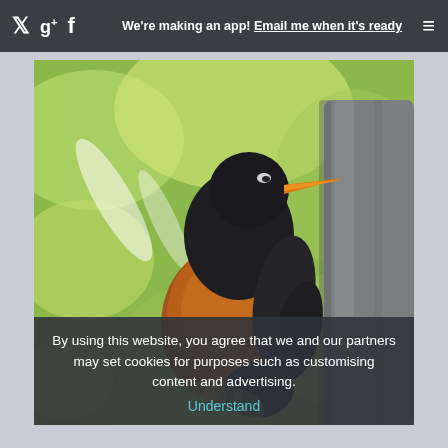We're making an app! Email me when it's ready
[Figure (photo): A robin bird with black head, orange beak, and rust-orange breast, perched near a tree trunk with blurred green foliage background.]
By using this website, you agree that we and our partners may set cookies for purposes such as customising content and advertising. Understand